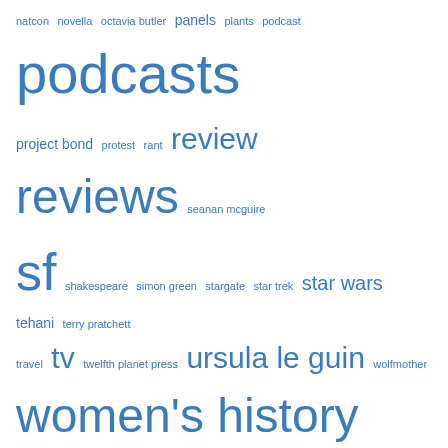natcon novella octavia butler panels plants podcast podcasts project bond protest rant review reviews seanan mcguire sf shakespeare simon green stargate star trek star wars tehani terry pratchett travel tv twelfth planet press ursula le guin wolfmother women's history month worldcon YA
Search
What I'm reading
The Best of World SF: Volume 2
by Lavie Tidhar